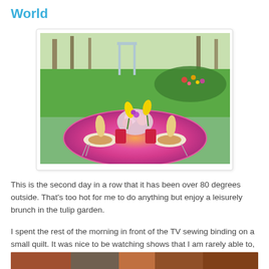World
[Figure (photo): Outdoor garden brunch table set with colorful pink/orange tablecloth, flower centerpiece with yellow tulips and pink roses, red plastic cups, plates with food, and a lush green garden with trees and flower beds in the background.]
This is the second day in a row that it has been over 80 degrees outside. That's too hot for me to do anything but enjoy a leisurely brunch in the tulip garden.
I spent the rest of the morning in front of the TV sewing binding on a small quilt. It was nice to be watching shows that I am rarely able to, like Regis and Kelli.
[Figure (photo): Partial view of another photo at the bottom of the page, cropped.]